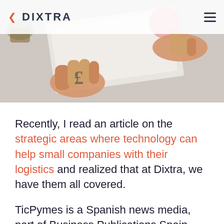[Figure (photo): Person's hands holding and pointing at a magazine/document on a wooden table, with a plant in the background. DIXTRA logo and hamburger menu visible in header overlay.]
Recently, I read an article on the strategic areas where technology can help small companies with their logistics and realized that at Dixtra, we have them all covered.
TicPymes is a Spanish news media, part of Business Publications Spain. Although they're constantly